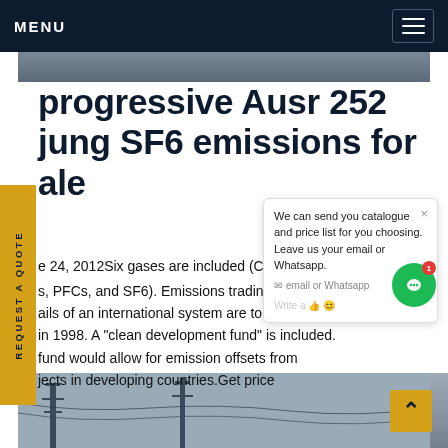MENU
progressive Ausr 252 jung SF6 emissions for ale
e 24, 2012Six gases are included (CO2, CH4/N2O, s, PFCs, and SF6). Emissions trading is included. ails of an international system are to be worked in 1998. A "clean development fund" is included. fund would allow for emission offsets from jects in developing countries.Get price
[Figure (screenshot): Chat popup overlay showing text: 'We can send you catalogue and price list for you choosing. Leave us your email or Whatsapp.' with a close button and emoji actions.]
[Figure (photo): Bottom strip showing industrial infrastructure with power lines and towers against a grey sky.]